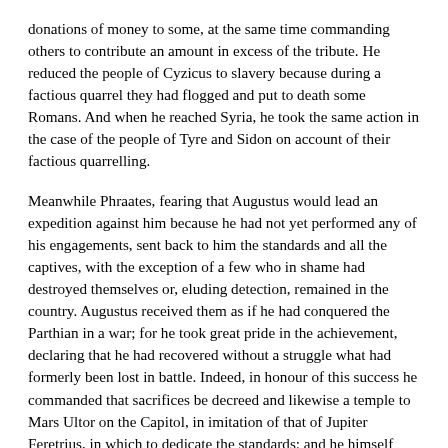donations of money to some, at the same time commanding others to contribute an amount in excess of the tribute. He reduced the people of Cyzicus to slavery because during a factious quarrel they had flogged and put to death some Romans. And when he reached Syria, he took the same action in the case of the people of Tyre and Sidon on account of their factious quarrelling.
Meanwhile Phraates, fearing that Augustus would lead an expedition against him because he had not yet performed any of his engagements, sent back to him the standards and all the captives, with the exception of a few who in shame had destroyed themselves or, eluding detection, remained in the country. Augustus received them as if he had conquered the Parthian in a war; for he took great pride in the achievement, declaring that he had recovered without a struggle what had formerly been lost in battle. Indeed, in honour of this success he commanded that sacrifices be decreed and likewise a temple to Mars Ultor on the Capitol, in imitation of that of Jupiter Feretrius, in which to dedicate the standards; and he himself carried out both decrees. Moreover he rode into the city on horseback and was honoured with a triumphal arch. Now all this was done later in commemoration of the event; but at the time of which we are speaking he was chosen commissioner of all the highways in the neighbourhood of Rome, and in this capacity set up the golden mile-stone, as it was called, and appointed men from the number of